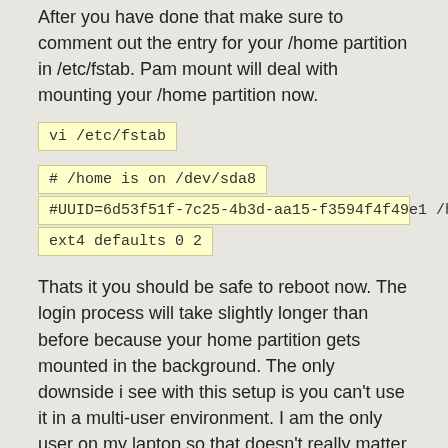After you have done that make sure to comment out the entry for your /home partition in /etc/fstab. Pam mount will deal with mounting your /home partition now.
vi /etc/fstab
# /home is on /dev/sda8
#UUID=6d53f51f-7c25-4b3d-aa15-f3594f4f49e1 /home
ext4 defaults 0 2
Thats it you should be safe to reboot now. The login process will take slightly longer than before because your home partition gets mounted in the background. The only downside i see with this setup is you can't use it in a multi-user environment. I am the only user on my laptop so that doesn't really matter to me.